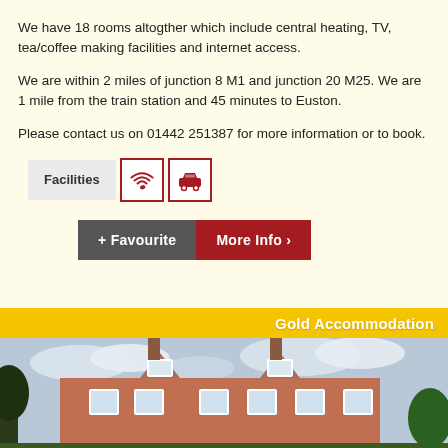We have 18 rooms altogther which include central heating, TV, tea/coffee making facilities and internet access.
We are within 2 miles of junction 8 M1 and junction 20 M25. We are 1 mile from the train station and 45 minutes to Euston.
Please contact us on 01442 251387 for more information or to book.
[Figure (infographic): Facilities row with label 'Facilities', a WiFi icon and a car/parking icon, both in red bordered boxes. Below: '+ Favourite' button in dark grey and 'More Info >' button in dark red.]
Gold Accommodation
[Figure (photo): Exterior photo of a red-brick country house with thatched dormers, chimneys, white-framed windows, and trees, under a partly cloudy sky.]